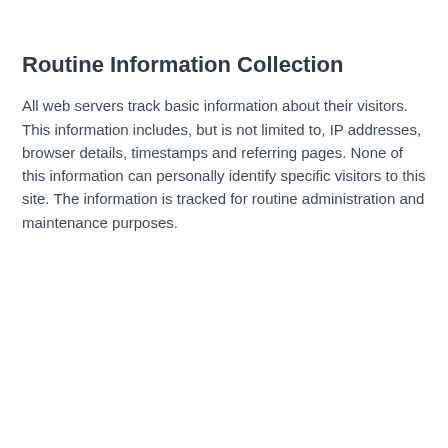Routine Information Collection
All web servers track basic information about their visitors. This information includes, but is not limited to, IP addresses, browser details, timestamps and referring pages. None of this information can personally identify specific visitors to this site. The information is tracked for routine administration and maintenance purposes.